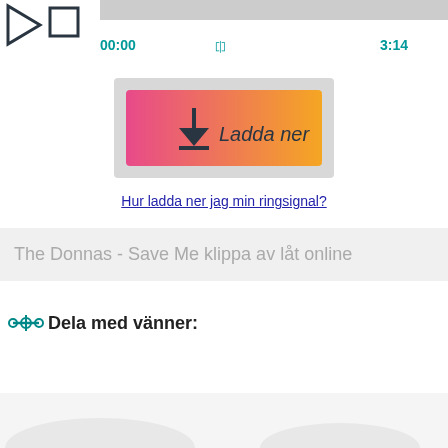[Figure (screenshot): Audio player controls: play triangle icon, stop square icon, progress bar area at top, time display showing 00:00 on left, repeat icon in center, 3:14 on right in teal color]
[Figure (illustration): Download button with pink-to-orange gradient background, download arrow icon on left, italic text 'Ladda ner' on right, surrounded by light gray shadow/wrapper]
Hur ladda ner jag min ringsignal?
The Donnas - Save Me klippa av låt online
Dela med vänner: